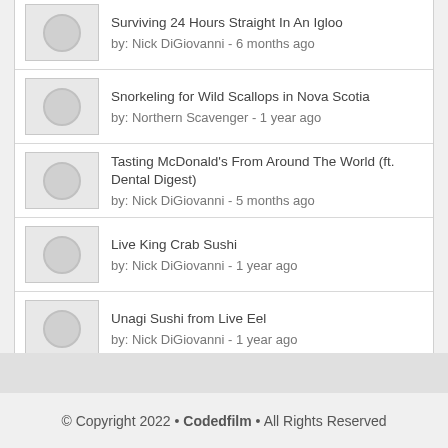Surviving 24 Hours Straight In An Igloo by: Nick DiGiovanni - 6 months ago
Snorkeling for Wild Scallops in Nova Scotia by: Northern Scavenger - 1 year ago
Tasting McDonald's From Around The World (ft. Dental Digest) by: Nick DiGiovanni - 5 months ago
Live King Crab Sushi by: Nick DiGiovanni - 1 year ago
Unagi Sushi from Live Eel by: Nick DiGiovanni - 1 year ago
© Copyright 2022 • Codedfilm • All Rights Reserved